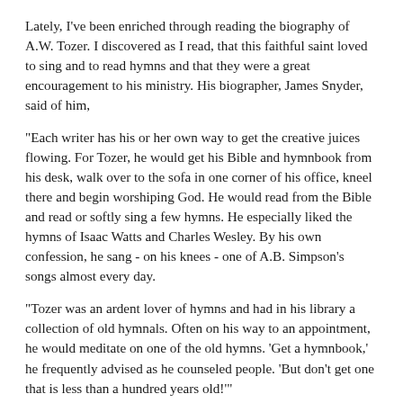Lately, I've been enriched through reading the biography of A.W. Tozer. I discovered as I read, that this faithful saint loved to sing and to read hymns and that they were a great encouragement to his ministry. His biographer, James Snyder, said of him,
"Each writer has his or her own way to get the creative juices flowing. For Tozer, he would get his Bible and hymnbook from his desk, walk over to the sofa in one corner of his office, kneel there and begin worshiping God. He would read from the Bible and read or softly sing a few hymns. He especially liked the hymns of Isaac Watts and Charles Wesley. By his own confession, he sang - on his knees - one of A.B. Simpson's songs almost every day.
"Tozer was an ardent lover of hymns and had in his library a collection of old hymnals. Often on his way to an appointment, he would meditate on one of the old hymns. 'Get a hymnbook,' he frequently advised as he counseled people. 'But don't get one that is less than a hundred years old!'"
"After the Bible . . . the next most valuable book is a good hymnal. Let any new Christian spend a year prayerfully meditating on the hymns of Watts and Wesley alone, and he or she will become a fine